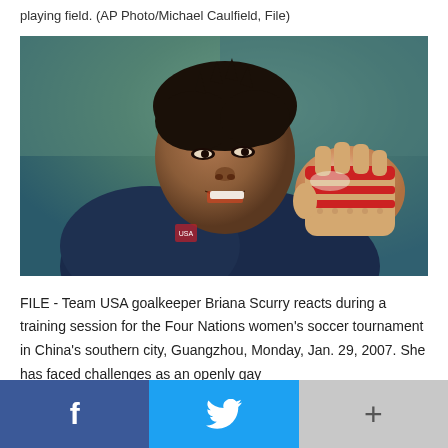playing field. (AP Photo/Michael Caulfield, File)
[Figure (photo): FILE - Team USA goalkeeper Briana Scurry reacts during a training session for the Four Nations women's soccer tournament, wearing a navy jacket with red collar and goalkeeper gloves, looking intensely to the side.]
FILE - Team USA goalkeeper Briana Scurry reacts during a training session for the Four Nations women's soccer tournament in China's southern city, Guangzhou, Monday, Jan. 29, 2007. She has faced challenges as an openly gay
f  (twitter bird icon)  +